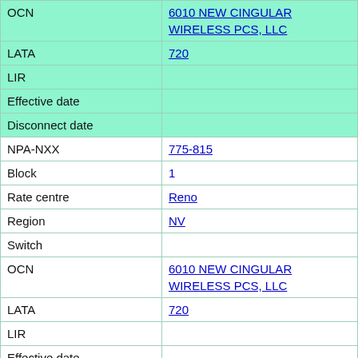| Field | Value |
| --- | --- |
| OCN | 6010 NEW CINGULAR WIRELESS PCS, LLC |
| LATA | 720 |
| LIR |  |
| Effective date |  |
| Disconnect date |  |
| NPA-NXX | 775-815 |
| Block | 1 |
| Rate centre | Reno |
| Region | NV |
| Switch |  |
| OCN | 6010 NEW CINGULAR WIRELESS PCS, LLC |
| LATA | 720 |
| LIR |  |
| Effective date |  |
| Disconnect date |  |
| NPA-NXX | 775-815 |
| Block | 2 |
| Rate centre | Reno |
| Region | NV |
| Switch |  |